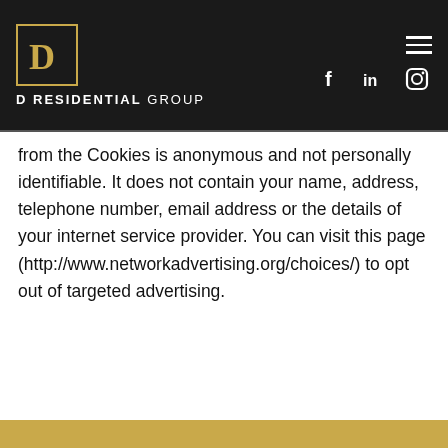[Figure (logo): D Residential Group logo with gold 'D' in a square border and brand name text below]
from the Cookies is anonymous and not personally identifiable. It does not contain your name, address, telephone number, email address or the details of your internet service provider. You can visit this page (http://www.networkadvertising.org/choices/) to opt out of targeted advertising.